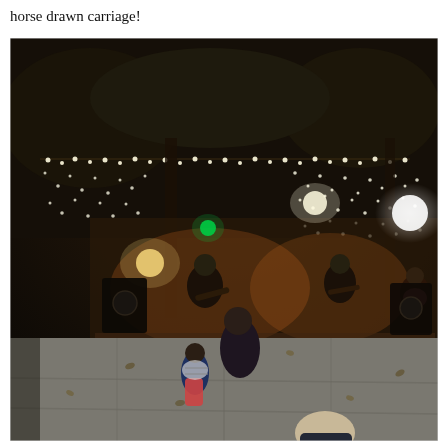horse drawn carriage!
[Figure (photo): Nighttime outdoor concert scene. A band plays on a stage area decorated with string lights in a pergola or gazebo structure. In the foreground, children and adults are dancing on a paved plaza. Two children are visible in the near foreground watching the performance. Trees with lights are visible in the background.]